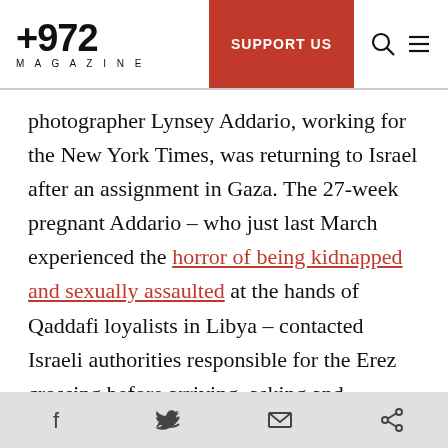+972 MAGAZINE | SUPPORT US
photographer Lynsey Addario, working for the New York Times, was returning to Israel after an assignment in Gaza. The 27-week pregnant Addario – who just last March experienced the horror of being kidnapped and sexually assaulted at the hands of Qaddafi loyalists in Libya – contacted Israeli authorities responsible for the Erez crossing before arriving, asking and receiving approval to be spared the metal detector because of her pregnancy.
When she arrived the soldiers knew nothing about
Facebook | Twitter | Email | Share